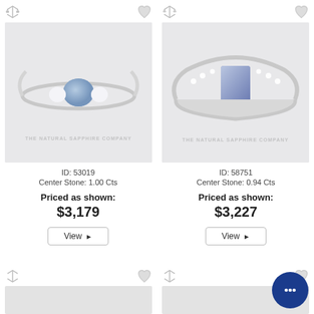[Figure (photo): Jewelry product listing page showing two sapphire rings side by side with icons, product IDs, pricing and view buttons]
ID: 53019
Center Stone: 1.00 Cts
Priced as shown:
$3,179
View
ID: 58751
Center Stone: 0.94 Cts
Priced as shown:
$3,227
View